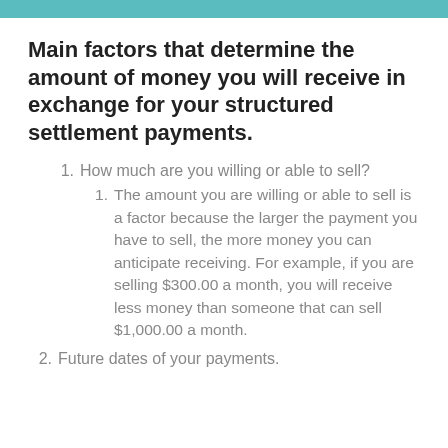Main factors that determine the amount of money you will receive in exchange for your structured settlement payments.
1. How much are you willing or able to sell?
1. The amount you are willing or able to sell is a factor because the larger the payment you have to sell, the more money you can anticipate receiving. For example, if you are selling $300.00 a month, you will receive less money than someone that can sell $1,000.00 a month.
2. Future dates of your payments.